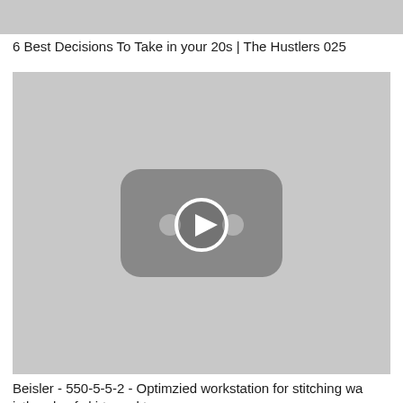[Figure (screenshot): Gray thumbnail placeholder at top of page]
6 Best Decisions To Take in your 20s | The Hustlers 025
[Figure (screenshot): YouTube-style video thumbnail placeholder with play button icon in center]
Beisler - 550-5-5-2 - Optimzied workstation for stitching waistbands of skirts and trousers